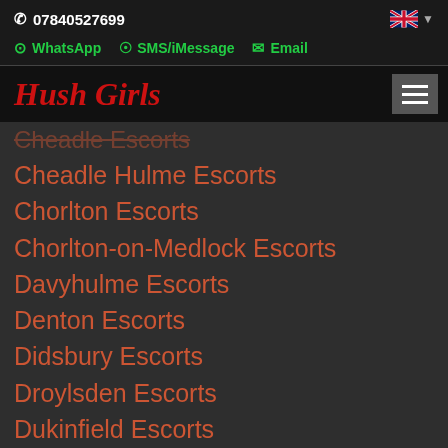07840527699
WhatsApp  SMS/iMessage  Email
Hush Girls
Cheadle Escorts
Cheadle Hulme Escorts
Chorlton Escorts
Chorlton-on-Medlock Escorts
Davyhulme Escorts
Denton Escorts
Didsbury Escorts
Droylsden Escorts
Dukinfield Escorts
Eccles Escorts
Failsworth Escorts
Farnworth Escorts